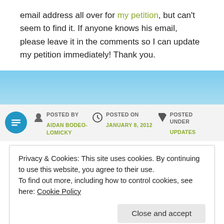email address all over for my petition, but can't seem to find it. If anyone knows his email, please leave it in the comments so I can update my petition immediately! Thank you.
[Figure (other): Blue gradient decorative bar separator]
POSTED BY AIDAN BODEO-LOMICKY | POSTED ON JANUARY 8, 2012 | POSTED UNDER UPDATES
Privacy & Cookies: This site uses cookies. By continuing to use this website, you agree to their use. To find out more, including how to control cookies, see here: Cookie Policy